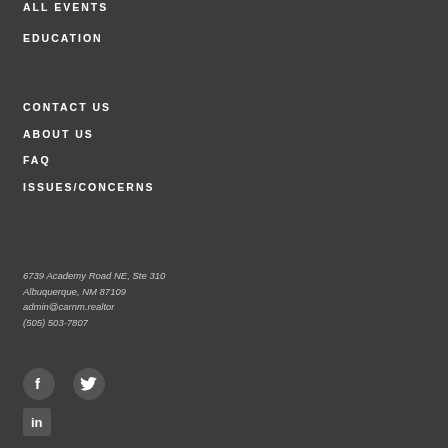ALL EVENTS
EDUCATION
CONTACT US
ABOUT US
FAQ
ISSUES/CONCERNS
6739 Academy Road NE, Ste 310
Albuquerque, NM 87109
admin@carnm.realtor
(505) 503-7807
[Figure (other): Social media icons: Facebook circle, Twitter circle, LinkedIn square]